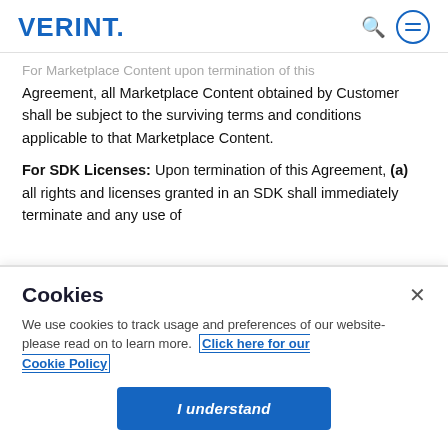VERINT.
For Marketplace Content upon termination of this Agreement, all Marketplace Content obtained by Customer shall be subject to the surviving terms and conditions applicable to that Marketplace Content.
For SDK Licenses: Upon termination of this Agreement, (a) all rights and licenses granted in an SDK shall immediately terminate and any use of
Cookies
We use cookies to track usage and preferences of our website- please read on to learn more. Click here for our Cookie Policy
I understand